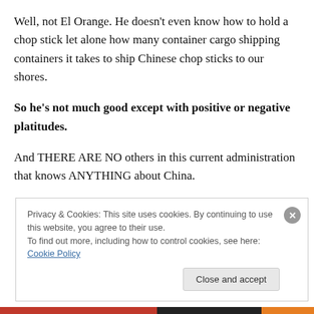Well, not El Orange. He doesn't even know how to hold a chop stick let alone how many container cargo shipping containers it takes to ship Chinese chop sticks to our shores.
So he's not much good except with positive or negative platitudes.
And THERE ARE NO others in this current administration that knows ANYTHING about China.
Privacy & Cookies: This site uses cookies. By continuing to use this website, you agree to their use.
To find out more, including how to control cookies, see here: Cookie Policy
Close and accept